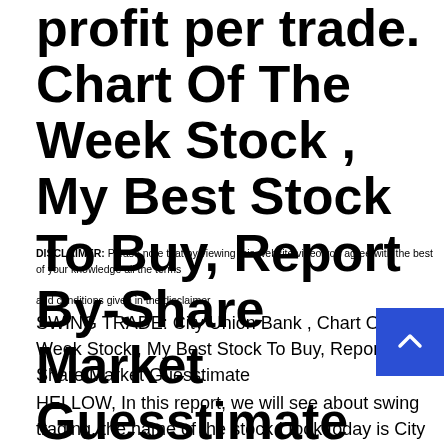profit per trade. Chart Of The Week Stock , My Best Stock To Buy, Report By-Share Market Guesstimate
DISCLAIMER: Please note that by viewing this website/video you agree with the best of your knowledge all the terms and conditions given in the disclaimer
SWING TRADE: City Union Bank , Chart Of The Week Stock , My Best Stock To Buy, Report By-Share Market Guesstimate
HELLOW, In this report, we will see about swing trading. the name of the stock I took today is City Union Bank. The price at which I